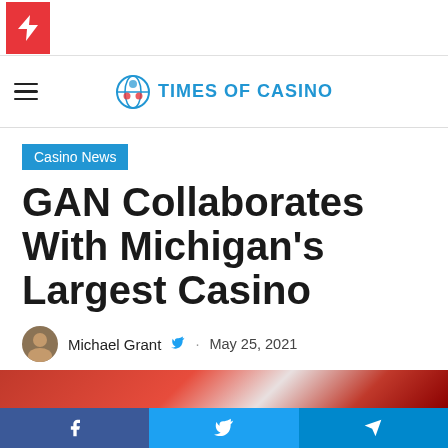Times of Casino
Casino News
GAN Collaborates With Michigan's Largest Casino
Michael Grant · May 25, 2021 Last Updated: June 2, 2021
1 minute read
[Figure (photo): Partial image visible at bottom of article, appears to be casino-related red image]
Facebook · Twitter · Telegram social share buttons